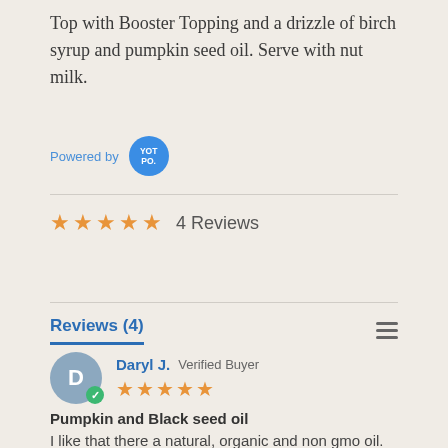Top with Booster Topping and a drizzle of birch syrup and pumpkin seed oil. Serve with nut milk.
Powered by YOTPO.
★★★★★ 4 Reviews
Reviews (4)
Daryl J. Verified Buyer
Pumpkin and Black seed oil
I like that there a natural, organic and non gmo oil. I'm very